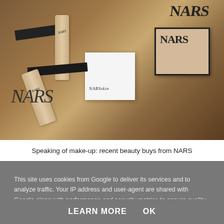[Figure (photo): Photo of multiple NARS cosmetics products including bottles, tubes, a white box labeled NARSskin, and a compact with NARS logo, arranged on a wooden surface]
Speaking of make-up: recent beauty buys from NARS
This site uses cookies from Google to deliver its services and to analyze traffic. Your IP address and user-agent are shared with Google along with performance and security metrics to ensure quality of service, generate usage statistics, and to detect and address abuse.
LEARN MORE    OK